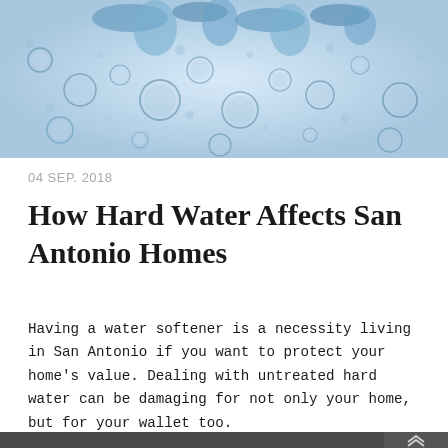[Figure (photo): Close-up photo of water bubbles/droplets on a surface, blue-tinted, with water splashes at top]
04 SEP. 2018
How Hard Water Affects San Antonio Homes
Having a water softener is a necessity living in San Antonio if you want to protect your home's value. Dealing with untreated hard water can be damaging for not only your home, but for your wallet too.
[Figure (photo): Photo of what appears to be water treatment or plumbing equipment, pipes and tanks, dark industrial setting]